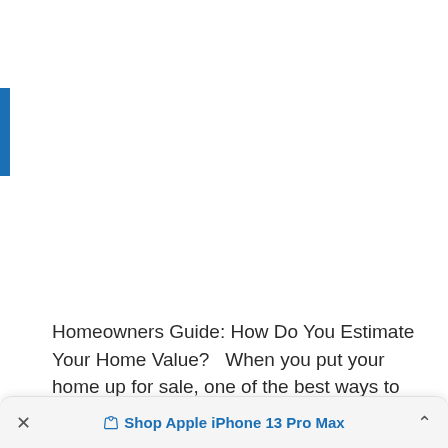[Figure (other): Blue vertical bar on the left side of the page]
Homeowners Guide: How Do You Estimate Your Home Value?   When you put your home up for sale, one of the best ways to determine the asking price or
× Shop Apple iPhone 13 Pro Max ^